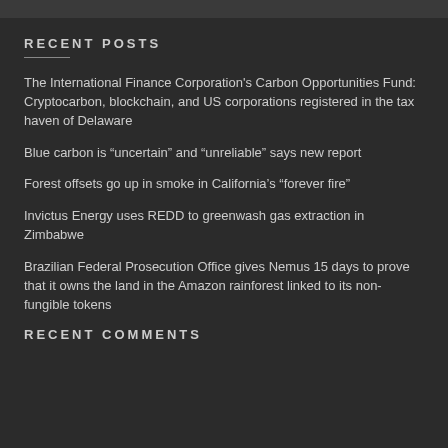RECENT POSTS
The International Finance Corporation's Carbon Opportunities Fund: Cryptocarbon, blockchain, and US corporations registered in the tax haven of Delaware
Blue carbon is “uncertain” and “unreliable” says new report
Forest offsets go up in smoke in California’s “forever fire”
Invictus Energy uses REDD to greenwash gas extraction in Zimbabwe
Brazilian Federal Prosecution Office gives Nemus 15 days to prove that it owns the land in the Amazon rainforest linked to its non-fungible tokens
RECENT COMMENTS